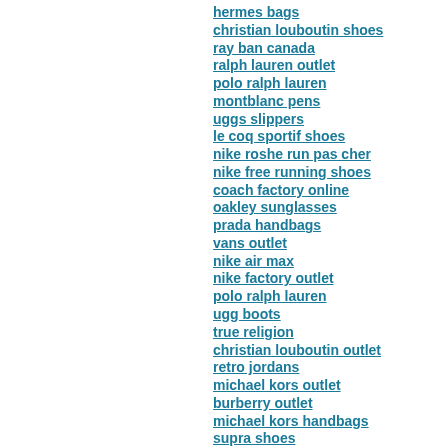hermes bags
christian louboutin shoes
ray ban canada
ralph lauren outlet
polo ralph lauren
montblanc pens
uggs slippers
le coq sportif shoes
nike roshe run pas cher
nike free running shoes
coach factory online
oakley sunglasses
prada handbags
vans outlet
nike air max
nike factory outlet
polo ralph lauren
ugg boots
true religion
christian louboutin outlet
retro jordans
michael kors outlet
burberry outlet
michael kors handbags
supra shoes